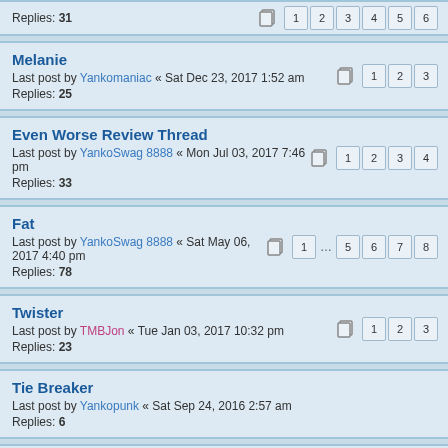Replies: 31 [pages 1 2 3 4 5 6]
Melanie
Last post by Yankomaniac « Sat Dec 23, 2017 1:52 am
Replies: 25 [pages 1 2 3]
Even Worse Review Thread
Last post by YankoSwag 8888 « Mon Jul 03, 2017 7:46 pm
Replies: 33 [pages 1 2 3 4]
Fat
Last post by YankoSwag 8888 « Sat May 06, 2017 4:40 pm
Replies: 78 [pages 1 ... 5 6 7 8]
Twister
Last post by TMBJon « Tue Jan 03, 2017 10:32 pm
Replies: 23 [pages 1 2 3]
Tie Breaker
Last post by Yankopunk « Sat Sep 24, 2016 2:57 am
Replies: 6
Alimony
Last post by Yankomaniac « Fri Sep 23, 2016 3:59 am
Replies: 26 [pages 1 2 3]
You Make Me
Last post by Yankomaniac « Fri Sep 23, 2016 3:57 am
Replies: 47 [pages 1 2 3 4 5]
(this Song's Just) Six Words Long
Last post by LaikaComeHome « Tue Sep 20, 2016 11:40 pm